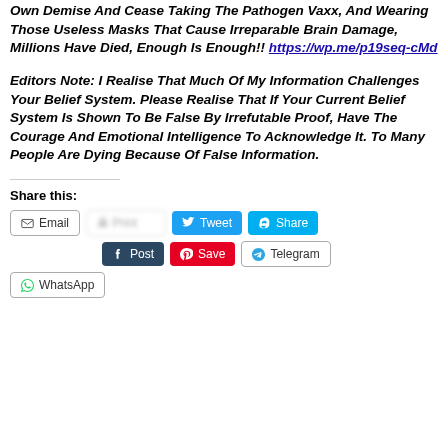Own Demise And Cease Taking The Pathogen Vaxx, And Wearing Those Useless Masks That Cause Irreparable Brain Damage, Millions Have Died, Enough Is Enough!! https://wp.me/p19seq-cMd
Editors Note: I Realise That Much Of My Information Challenges Your Belief System. Please Realise That If Your Current Belief System Is Shown To Be False By Irrefutable Proof, Have The Courage And Emotional Intelligence To Acknowledge It. To Many People Are Dying Because Of False Information.
Share this:
Email | Print | Tweet | Share | Post | Save | Telegram | WhatsApp